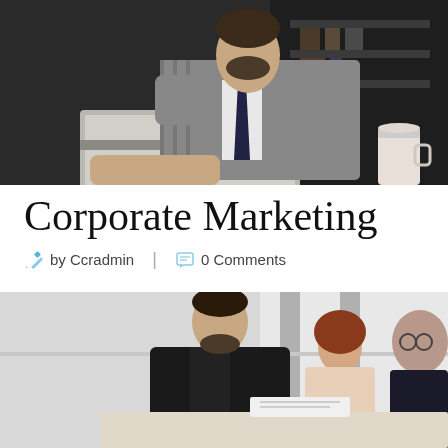[Figure (photo): Man in a grey plaid blazer sitting at a desk working on a laptop in a dark office setting, with a coffee cup visible to the right]
Corporate Marketing
by Ccradmin   0 Comments
[Figure (photo): Group of business professionals leaning over to look at something together, in a bright office environment]